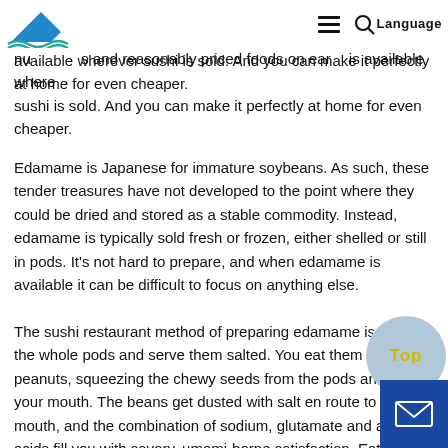Language
bar. But it recently clicked for me that one of the most delicious, nutritious and reasonably priced foods on earth is available wherever sushi is sold. And you can make it perfectly at home for even cheaper.
Edamame is Japanese for immature soybeans. As such, these tender treasures have not developed to the point where they could be dried and stored as a stable commodity. Instead, edamame is typically sold fresh or frozen, either shelled or still in pods. It's not hard to prepare, and when edamame is available it can be difficult to focus on anything else.
The sushi restaurant method of preparing edamame is to boil the whole pods and serve them salted. You eat them like soft peanuts, squeezing the chewy seeds from the pods and into your mouth. The beans get dusted with salt en route to your mouth, and the combination of sodium, glutamate and amino acids fill you with savory, umami-borne satisfaction. Eating them is something like high-speed meditation. My son, who claims sushi as his favorite food, can completely ignore a table laden with expensive raw fish if there